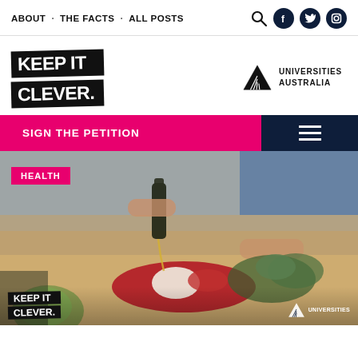ABOUT · THE FACTS · ALL POSTS
[Figure (logo): KEEP IT CLEVER. logo in black blocks with white bold text, and Universities Australia logo with mountain/triangle icon]
SIGN THE PETITION
[Figure (photo): Person pouring olive oil onto a plate with mozzarella and tomatoes with fresh herbs, HEALTH label overlay, and Keep It Clever / Universities Australia branding at bottom]